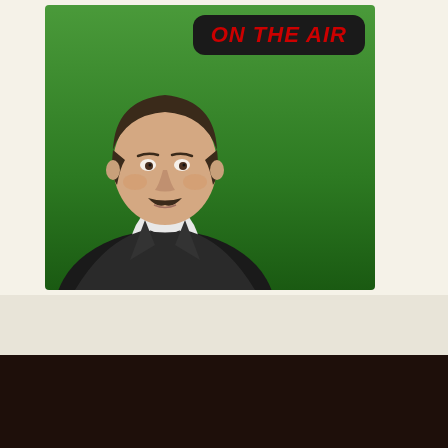[Figure (illustration): Illustration of a 19th-century man in formal black coat and cravat, with a mustache, against a green background, with a dark rounded rectangle sign reading 'ON THE AIR' in red bold italic text.]
KSSF – Kardecian Spiritist Society of Florida © 2002 – 2020
KSSF is a not-for-profit organization recognized as tax-exempt under Internal